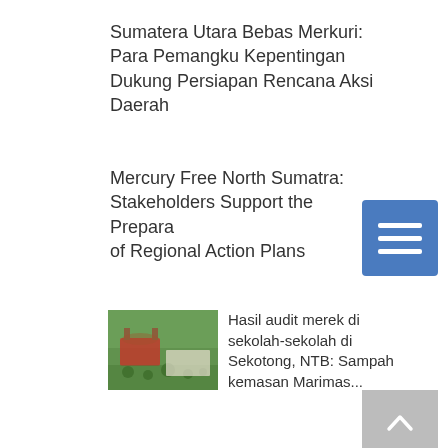Sumatera Utara Bebas Merkuri: Para Pemangku Kepentingan Dukung Persiapan Rencana Aksi Daerah
Mercury Free North Sumatra: Stakeholders Support the Preparation of Regional Action Plans
Hasil audit merek di sekolah-sekolah di Sekotong, NTB: Sampah kemasan Marimas...
Archive
August 2022 (1)